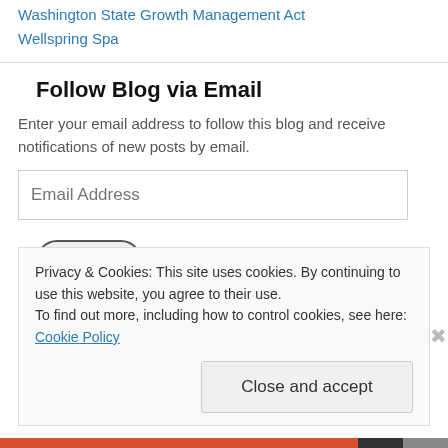Washington State Growth Management Act
Wellspring Spa
Follow Blog via Email
Enter your email address to follow this blog and receive notifications of new posts by email.
Join 125 other followers
Privacy & Cookies: This site uses cookies. By continuing to use this website, you agree to their use.
To find out more, including how to control cookies, see here: Cookie Policy
Close and accept